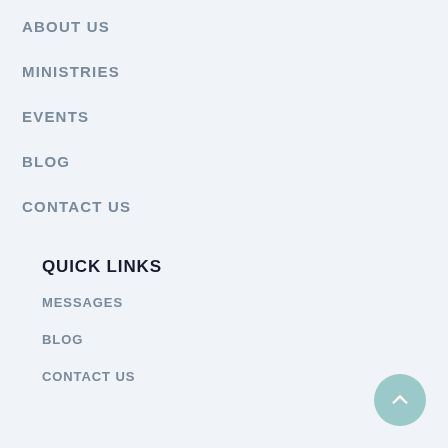ABOUT US
MINISTRIES
EVENTS
BLOG
CONTACT US
QUICK LINKS
MESSAGES
BLOG
CONTACT US